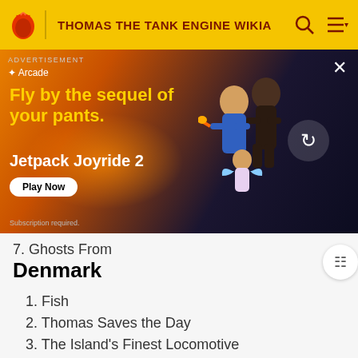THOMAS THE TANK ENGINE WIKIA
[Figure (screenshot): Advertisement banner for Jetpack Joyride 2 on Apple Arcade. Shows animated characters flying with jetpacks against an orange/dark background. Text: 'ADVERTISEMENT', 'Arcade', 'Fly by the sequel of your pants. Jetpack Joyride 2', 'Play Now', 'Subscription required.']
7. Ghosts From
Denmark
1. Fish
2. Thomas Saves the Day
3. The Island's Finest Locomotive
4. Circus
5. Surprise
6. A Wild Confusion
7. Halloween